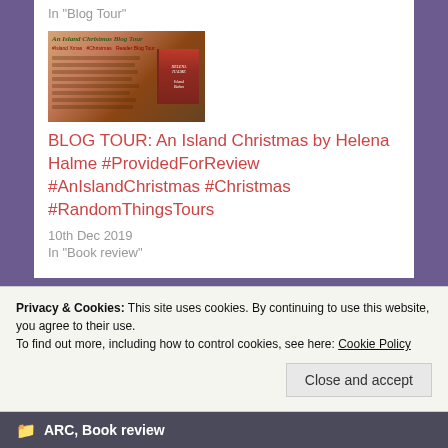In "Blog Tour"
[Figure (photo): Book tour promotional image for 'An Island Christmas Blog Tour' featuring a schedule list and a red book cover by Helena Halme]
BLOG TOUR: An Island Christmas by Helena Halme #ProvidedForReview #AnIslandChristmas #Christmas #RandomThingsTours
10th Dec 2019
In "Book review"
Privacy & Cookies: This site uses cookies. By continuing to use this website, you agree to their use.
To find out more, including how to control cookies, see here: Cookie Policy
Close and accept
ARC, Book review